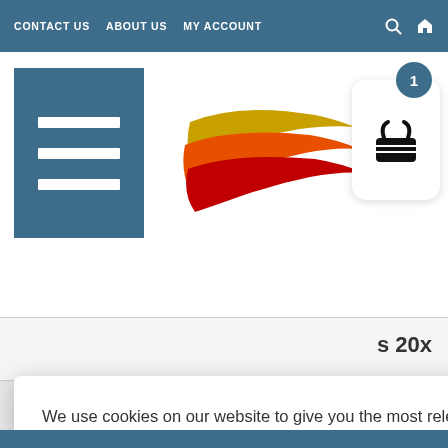CONTACT US  ABOUT US  MY ACCOUNT
[Figure (logo): BartSharp Airbrush logo with stylized swoosh in red, yellow, and gold colors above the text BARTSHARP AIRBRUSH]
We use cookies on our website to give you the most relevant experience by remembering your preferences and repeat visits. By clicking "Accept All", you consent to the use of ALL the cookies. However, you may visit "Cookie Settings" to provide a controlled consent.
Cookie Settings  Accept All